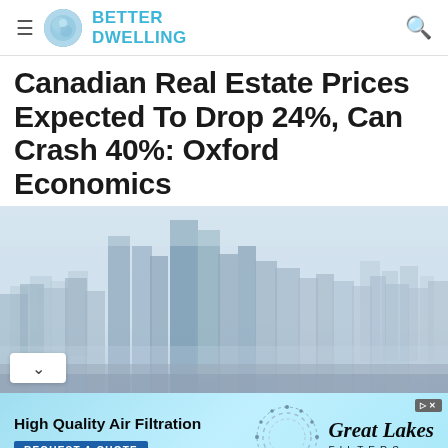Better Dwelling
Canadian Real Estate Prices Expected To Drop 24%, Can Crash 40%: Oxford Economics
[Figure (photo): Hazy cityscape with tall skyscrapers and buildings silhouetted against a misty grey-blue sky]
[Figure (infographic): Advertisement banner: High Quality Air Filtration — Great Lakes Filters — Request A Quote]